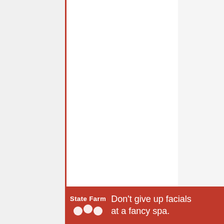3 Season with salt, pepper, and nutmeg to taste or as desired.
[Figure (screenshot): State Farm advertisement banner with red background, State Farm logo (white text and three overlapping circles), and text: Don't give up facials at a fancy spa.]
1,738